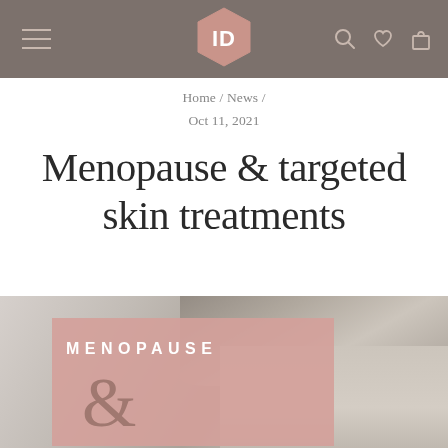ID — site header with hamburger menu, logo, search, wishlist, cart icons
Home / News /
Oct 11, 2021
Menopause & targeted skin treatments
[Figure (photo): Promotional image showing a pink overlay box with text 'MENOPAUSE &' next to a grayscale photo of a woman's face]